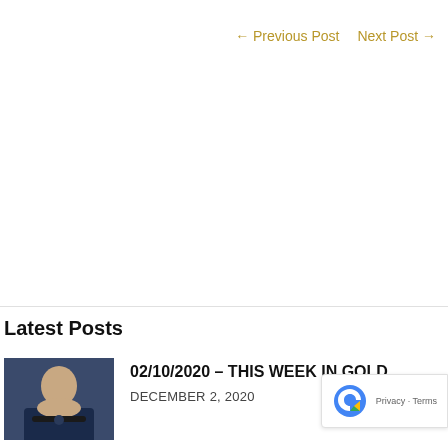← Previous Post   Next Post →
Latest Posts
[Figure (photo): Photo of a person wearing a dark mask, against a blurred background]
02/10/2020 – THIS WEEK IN GOLD
DECEMBER 2, 2020